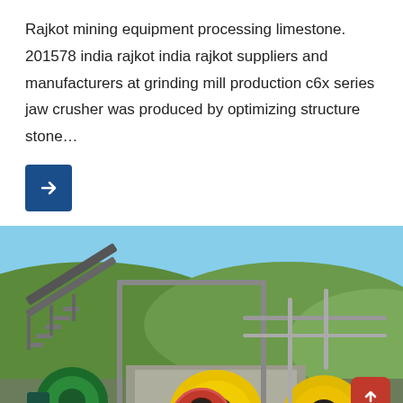Rajkot mining equipment processing limestone. 201578 india rajkot india rajkot suppliers and manufacturers at grinding mill production c6x series jaw crusher was produced by optimizing structure stone…
[Figure (photo): Industrial mining/washing equipment with green and yellow drum rollers, conveyor belt stairs, metallic framework, set against a hillside with green vegetation and blue sky.]
Leave Message   Chat Online